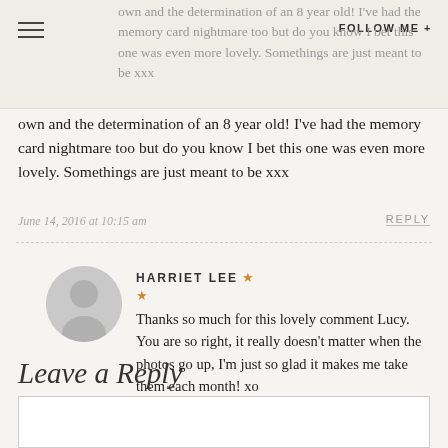own and the determination of an 8 year old! I've had the memory card nightmare too but do you know I bet this one was even more lovely. Somethings are just meant to be xxx
own and the determination of an 8 year old! I've had the memory card nightmare too but do you know I bet this one was even more lovely. Somethings are just meant to be xxx
June 14, 2016 at 10:15 am
REPLY
HARRIET LEE
Thanks so much for this lovely comment Lucy. You are so right, it really doesn't matter when the photos go up, I'm just so glad it makes me take them each month! xo
July 2, 2016 at 8:06 pm
REPLY
Leave a Reply